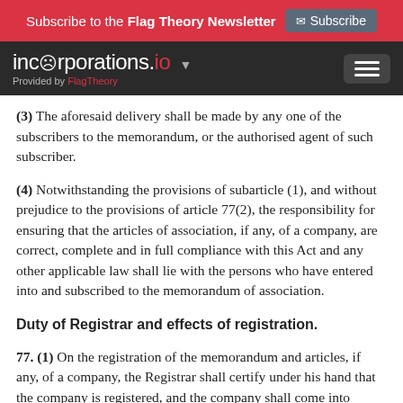Subscribe to the Flag Theory Newsletter  Subscribe
incorporations.io  Provided by FlagTheory
(3) The aforesaid delivery shall be made by any one of the subscribers to the memorandum, or the authorised agent of such subscriber.
(4) Notwithstanding the provisions of subarticle (1), and without prejudice to the provisions of article 77(2), the responsibility for ensuring that the articles of association, if any, of a company, are correct, complete and in full compliance with this Act and any other applicable law shall lie with the persons who have entered into and subscribed to the memorandum of association.
Duty of Registrar and effects of registration.
77. (1) On the registration of the memorandum and articles, if any, of a company, the Registrar shall certify under his hand that the company is registered, and the company shall come into existence and shall be authorised to commence business as from the date of registration which date shall be indicated in